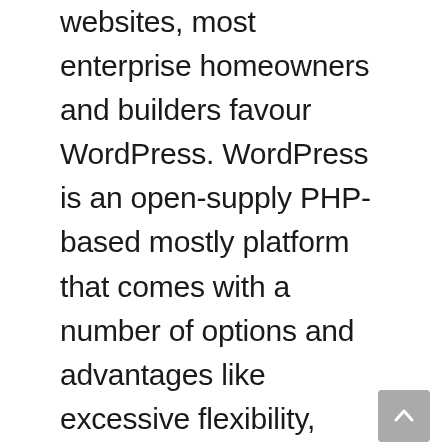websites, most enterprise homeowners and builders favour WordPress. WordPress is an open-supply PHP-based mostly platform that comes with a number of options and advantages like excessive flexibility, excessive scalability, excessive safety, a plethora of plugins, themes, and extensions, and extra. WordPress powers over forty % of the energetic eCommerce websites right now. And there are numerous causes for this big demand and recognition of this platform and the the explanation why it is healthier to decide on a WordPress developer on your eCommerce site over the